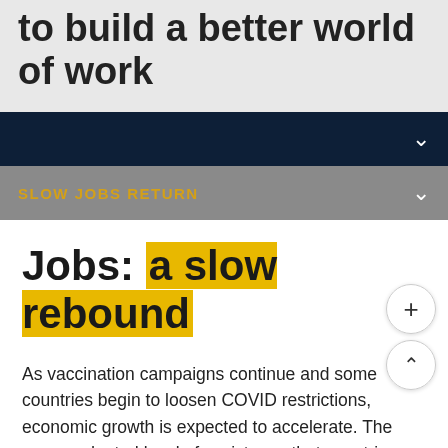to build a better world of work
SLOW JOBS RETURN
Jobs: a slow rebound
As vaccination campaigns continue and some countries begin to loosen COVID restrictions, economic growth is expected to accelerate. The unprecedented level of assistance that countries have provided through job retention schemes and income support have saved up to 21 million jobs and helped many households make it through the pandemic. In many ways, there is light at the end of the tunnel.